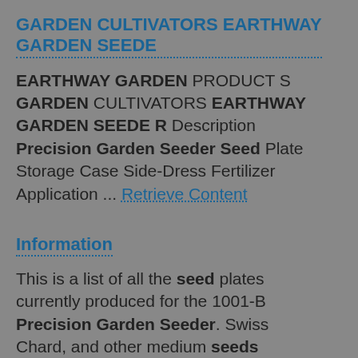GARDEN CULTIVATORS EARTHWAY GARDEN SEEDE
EARTHWAY GARDEN PRODUCT S GARDEN CULTIVATORS EARTHWAY GARDEN SEEDE R Description Precision Garden Seeder Seed Plate Storage Case Side-Dress Fertilizer Application ... Retrieve Content
Information
This is a list of all the seed plates currently produced for the 1001-B Precision Garden Seeder. Swiss Chard, and other medium seeds 0.250" / 6.3mm. EV-N-SPREDEV-N-